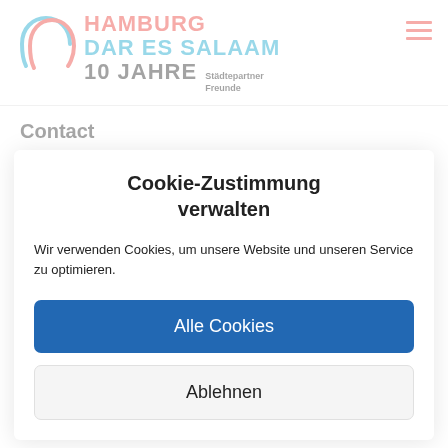[Figure (logo): Hamburg Dar es Salaam 10 Jahre Städtepartner Freunde logo with two overlapping speech bubble arcs in cyan and red]
Contact
Cookie-Zustimmung verwalten
Wir verwenden Cookies, um unsere Website und unseren Service zu optimieren.
Alle Cookies
Ablehnen